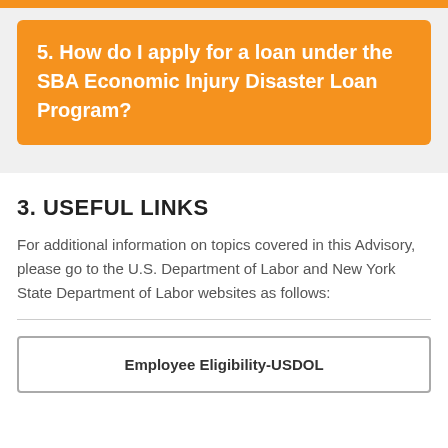5. How do I apply for a loan under the SBA Economic Injury Disaster Loan Program?
3. USEFUL LINKS
For additional information on topics covered in this Advisory, please go to the U.S. Department of Labor and New York State Department of Labor websites as follows:
Employee Eligibility-USDOL